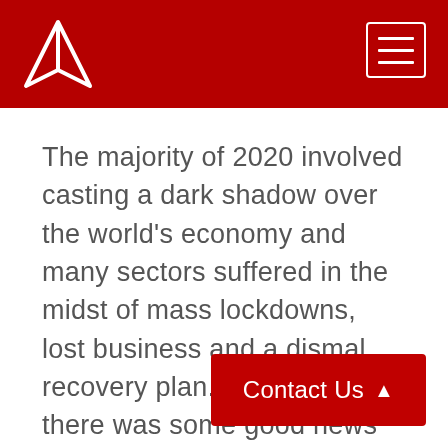The majority of 2020 involved casting a dark shadow over the world's economy and many sectors suffered in the midst of mass lockdowns, lost business and a dismal recovery plan. However, there was some good news to end the year on, and it's gotten farmers quite excited.
Contact Us ▲